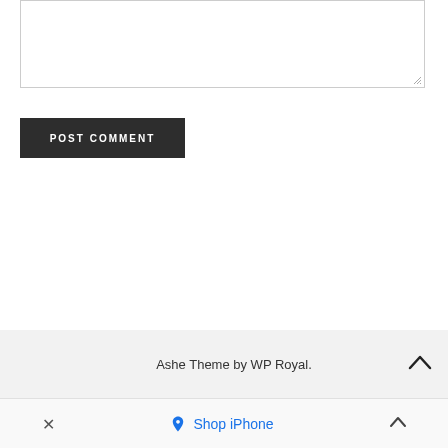[Figure (screenshot): Textarea input box with resize handle at bottom right]
POST COMMENT
Ashe Theme by WP Royal.
× Shop iPhone ^